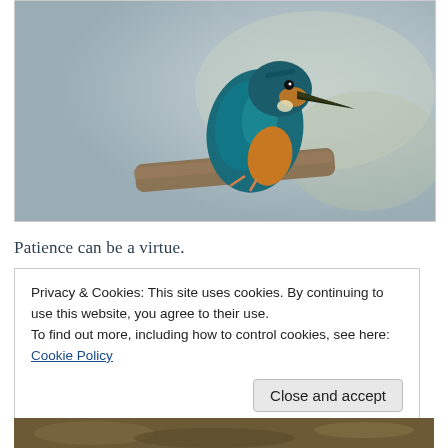[Figure (photo): A kingfisher bird with teal and orange plumage perched on a wooden branch, against a blurred blue-grey background.]
Patience can be a virtue.
Privacy & Cookies: This site uses cookies. By continuing to use this website, you agree to their use.
To find out more, including how to control cookies, see here: Cookie Policy
Close and accept
[Figure (photo): Partial view of another nature photo at the bottom of the page, showing brown/earthy tones.]